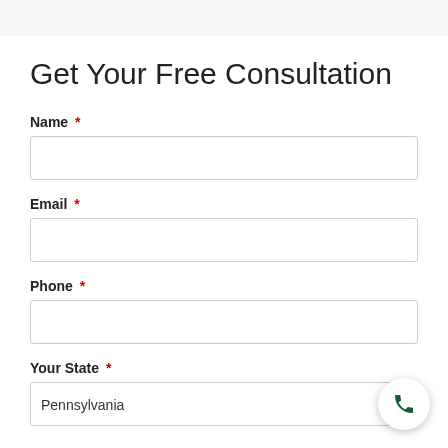Get Your Free Consultation
Name *
Email *
Phone *
Your State *
Pennsylvania